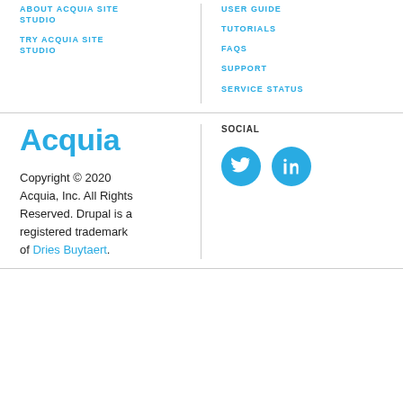ABOUT ACQUIA SITE STUDIO
TRY ACQUIA SITE STUDIO
USER GUIDE
TUTORIALS
FAQS
SUPPORT
SERVICE STATUS
[Figure (logo): Acquia logo in blue text]
Copyright © 2020 Acquia, Inc. All Rights Reserved. Drupal is a registered trademark of Dries Buytaert.
SOCIAL
[Figure (illustration): Twitter and LinkedIn social media icons as blue circles with white logos]